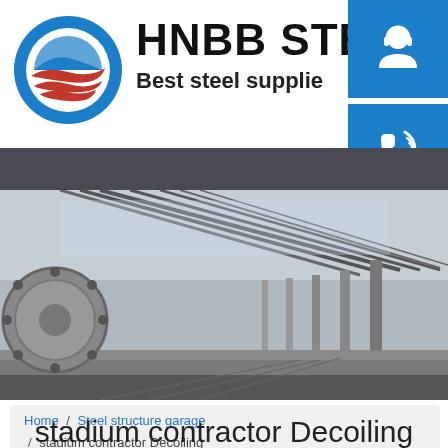[Figure (logo): HNBB STEEL logo with circular Obama-style icon and text 'HNBB STEEL / Best steel supplie' alongside three blue icon buttons for customer service, phone, and Skype]
[Figure (photo): Interior photo of a steel structure industrial building showing arched steel roof framework and a large circular steel component in the foreground]
Home / Steel structure garage / stadium contractor Decoiling
stadium contractor Decoiling